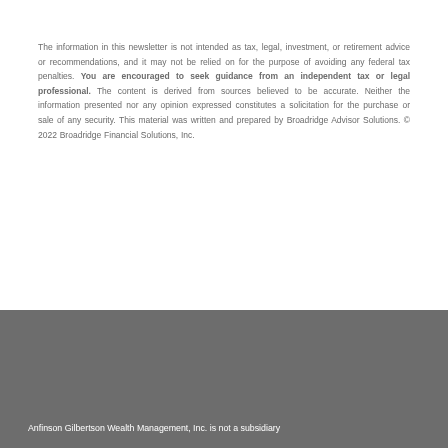The information in this newsletter is not intended as tax, legal, investment, or retirement advice or recommendations, and it may not be relied on for the purpose of avoiding any federal tax penalties. You are encouraged to seek guidance from an independent tax or legal professional. The content is derived from sources believed to be accurate. Neither the information presented nor any opinion expressed constitutes a solicitation for the purchase or sale of any security. This material was written and prepared by Broadridge Advisor Solutions. © 2022 Broadridge Financial Solutions, Inc.
Anfinson Gilbertson Wealth Management, Inc. is not a subsidiary